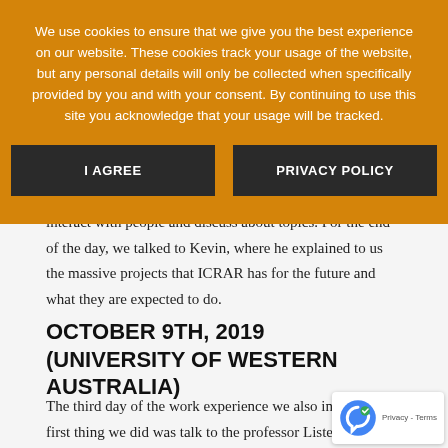We use cookies to ensure that we give you the best experience on our website. These cookies track your usage of the website, but any personal details will only be collected when specifically provided by you and with your consent. By continuing to use this site you acknowledge that your usage will be tracked.
I AGREE | PRIVACY POLICY
interact with people and discuss about topics. For the end of the day, we talked to Kevin, where he explained to us the massive projects that ICRAR has for the future and what they are expected to do.
OCTOBER 9TH, 2019 (UNIVERSITY OF WESTERN AUSTRALIA)
The third day of the work experience we also in UWA. The first thing we did was talk to the professor Lister Staveley-Sm...